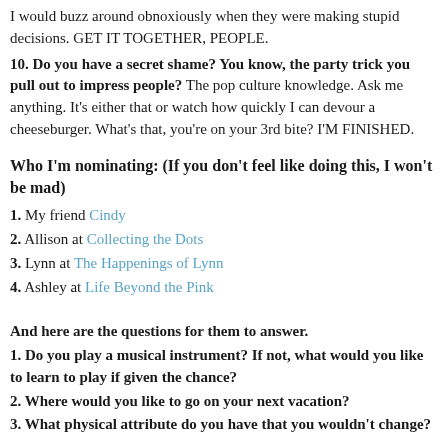I would buzz around obnoxiously when they were making stupid decisions. GET IT TOGETHER, PEOPLE.
10. Do you have a secret shame? You know, the party trick you pull out to impress people? The pop culture knowledge. Ask me anything. It's either that or watch how quickly I can devour a cheeseburger. What's that, you're on your 3rd bite? I'M FINISHED.
Who I'm nominating: (If you don't feel like doing this, I won't be mad)
1. My friend Cindy
2. Allison at Collecting the Dots
3. Lynn at The Happenings of Lynn
4. Ashley at Life Beyond the Pink
And here are the questions for them to answer.
1. Do you play a musical instrument? If not, what would you like to learn to play if given the chance?
2. Where would you like to go on your next vacation?
3. What physical attribute do you have that you wouldn't change?